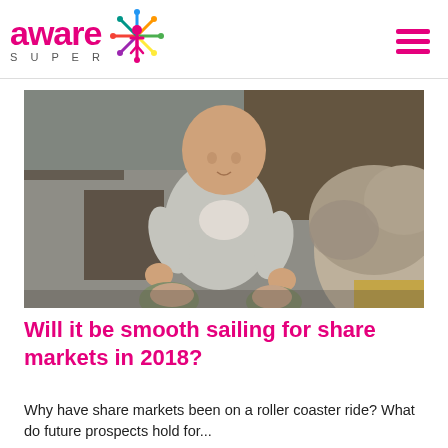[Figure (logo): Aware Super logo with colourful star/people icon and pink 'aware' wordmark with 'SUPER' below in grey]
[Figure (photo): Elderly person holding a smiling baby up close indoors, warm candid moment]
Will it be smooth sailing for share markets in 2018?
Why have share markets been on a roller coaster ride? What do future prospects hold for...